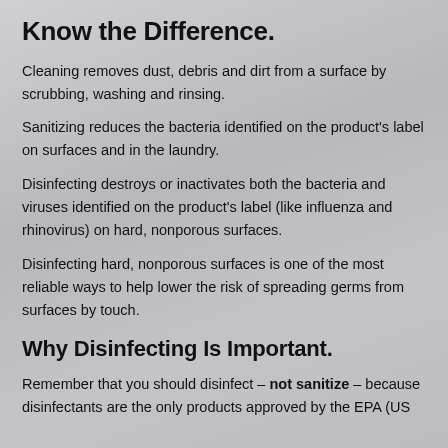Know the Difference.
Cleaning removes dust, debris and dirt from a surface by scrubbing, washing and rinsing.
Sanitizing reduces the bacteria identified on the product's label on surfaces and in the laundry.
Disinfecting destroys or inactivates both the bacteria and viruses identified on the product's label (like influenza and rhinovirus) on hard, nonporous surfaces.
Disinfecting hard, nonporous surfaces is one of the most reliable ways to help lower the risk of spreading germs from surfaces by touch.
Why Disinfecting Is Important.
Remember that you should disinfect – not sanitize – because disinfectants are the only products approved by the EPA (US